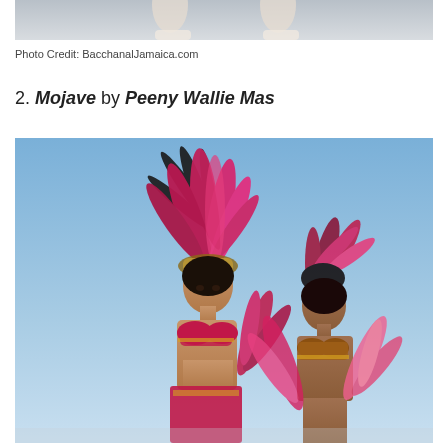[Figure (photo): Partial photo showing feet/shoes at the bottom of a previous image, visible at very top of page]
Photo Credit: BacchanalJamaica.com
2. Mojave by Peeny Wallie Mas
[Figure (photo): Two women in colorful carnival costumes with large feathered headdresses and wings, posed against a blue sky background. Costumes are deep pink/magenta with gold accents.]